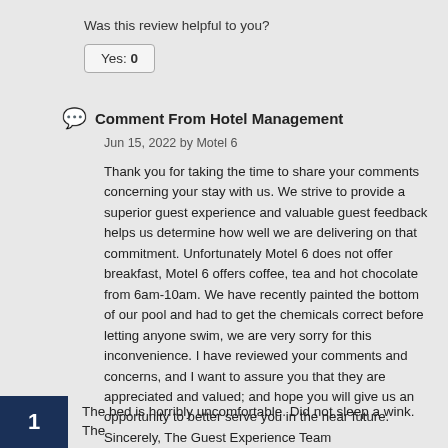Was this review helpful to you?
Yes: 0
Comment From Hotel Management
Jun 15, 2022 by Motel 6
Thank you for taking the time to share your comments concerning your stay with us. We strive to provide a superior guest experience and valuable guest feedback helps us determine how well we are delivering on that commitment. Unfortunately Motel 6 does not offer breakfast, Motel 6 offers coffee, tea and hot chocolate from 6am-10am. We have recently painted the bottom of our pool and had to get the chemicals correct before letting anyone swim, we are very sorry for this inconvenience. I have reviewed your comments and concerns, and I want to assure you that they are appreciated and valued; and hope you will give us an opportunity to better serve you in the near future. Sincerely, The Guest Experience Team
1
The bed is horribly uncomfortable. Did not sleep a wink. The